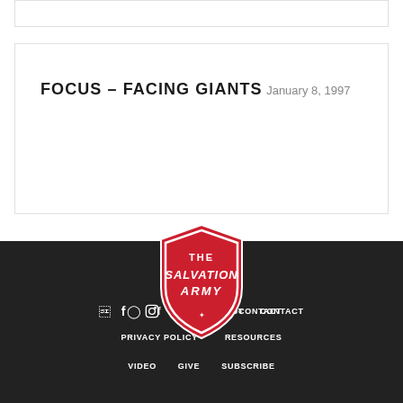FOCUS – FACING GIANTS
January 8, 1997
[Figure (logo): The Salvation Army shield logo in red with white text reading 'THE SALVATION ARMY']
ABOUT   CONTACT   PRIVACY POLICY   RESOURCES   VIDEO   GIVE   SUBSCRIBE